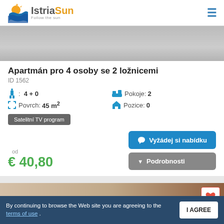[Figure (logo): IstriaSun logo with sun/wave icon and tagline 'Follow the sun']
[Figure (photo): Gray/blurred interior room photo strip]
Apartmán pro 4 osoby se 2 ložnicemi
ID 1562
4 + 0   Pokoje: 2   Povrch: 45 m²   Pozice: 0
Satelitní TV program
od  € 40,80
Vyžádej si nabídku
Podrobnosti
[Figure (photo): Interior room photo with warm tones and a heart/favorite button]
By continuing to browse the Web site you are agreeing to the terms of use .